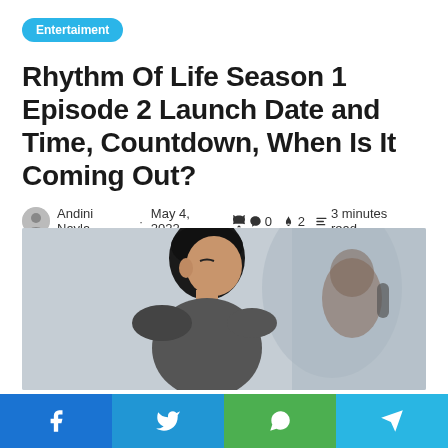Entertaiment
Rhythm Of Life Season 1 Episode 2 Launch Date and Time, Countdown, When Is It Coming Out?
Andini Nayla · May 4, 2022  0  2  3 minutes read
[Figure (photo): Photo of a young Asian man viewed from behind/side, with blurred background showing another person.]
Social share buttons: Facebook, Twitter, WhatsApp, Telegram